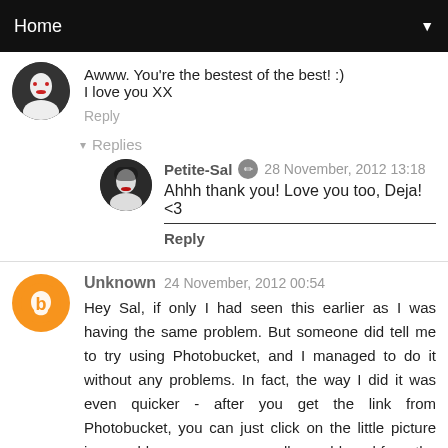Home
Awww. You're the bestest of the best! :)
I love you XX
Reply
▾ Replies
Petite-Sal ✎ 28 November, 2012 13:18
Ahhh thank you! Love you too, Deja! <3
Reply
Unknown 24 November, 2012 00:54
Hey Sal, if only I had seen this earlier as I was having the same problem. But someone did tell me to try using Photobucket, and I managed to do it without any problems. In fact, the way I did it was even quicker - after you get the link from Photobucket, you can just click on the little picture icon on blogger as you normally would, and from the menu